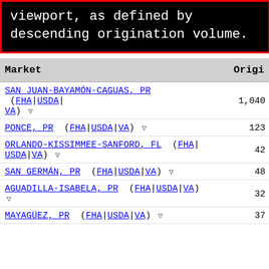viewport, as defined by descending origination volume.
| Market | Origi |
| --- | --- |
| SAN JUAN-BAYAMÓN-CAGUAS, PR (FHA|USDA|VA) | 1,040 |
| PONCE, PR (FHA|USDA|VA) | 123 |
| ORLANDO-KISSIMMEE-SANFORD, FL (FHA|USDA|VA) | 42 |
| SAN GERMÁN, PR (FHA|USDA|VA) | 48 |
| AGUADILLA-ISABELA, PR (FHA|USDA|VA) | 32 |
| MAYAGÜEZ, PR (FHA|USDA|VA) | 37 |